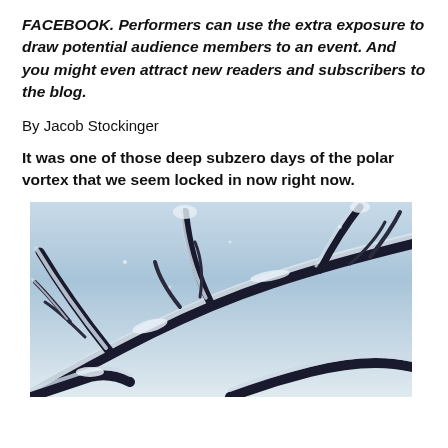FACEBOOK. Performers can use the extra exposure to draw potential audience members to an event. And you might even attract new readers and subscribers to the blog.
By Jacob Stockinger
It was one of those deep subzero days of the polar vortex that we seem locked in now right now.
[Figure (photo): Snow-covered tree branches photographed from below looking up at a pale blue winter sky, with dark branches contrasting against white snow accumulation.]